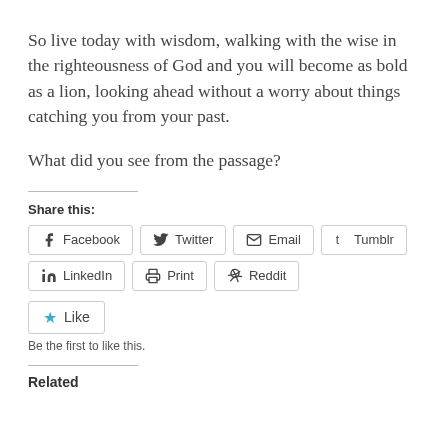So live today with wisdom, walking with the wise in the righteousness of God and you will become as bold as a lion, looking ahead without a worry about things catching you from your past.
What did you see from the passage?
Share this:
[Figure (screenshot): Social sharing buttons: Facebook, Twitter, Email, Tumblr, LinkedIn, Print, Reddit]
[Figure (screenshot): Like button with star icon]
Be the first to like this.
Related